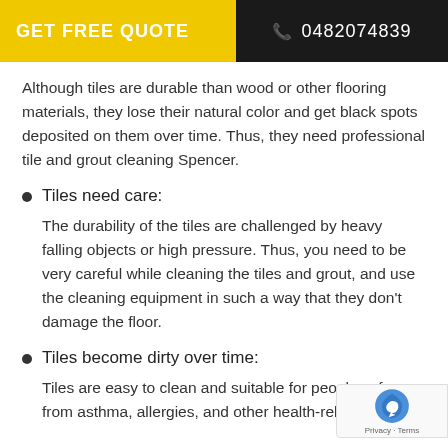GET FREE QUOTE  📞 0482074839
Although tiles are durable than wood or other flooring materials, they lose their natural color and get black spots deposited on them over time. Thus, they need professional tile and grout cleaning Spencer.
Tiles need care:
The durability of the tiles are challenged by heavy falling objects or high pressure. Thus, you need to be very careful while cleaning the tiles and grout, and use the cleaning equipment in such a way that they don't damage the floor.
Tiles become dirty over time:
Tiles are easy to clean and suitable for people suf... from asthma, allergies, and other health-related